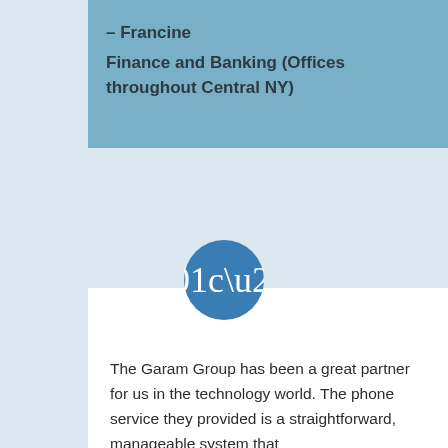– Francine
Finance and Banking (Offices throughout Central NY)
[Figure (illustration): Blue circle with white open quotation marks icon]
The Garam Group has been a great partner for us in the technology world. The phone service they provided is a straightforward, manageable system that